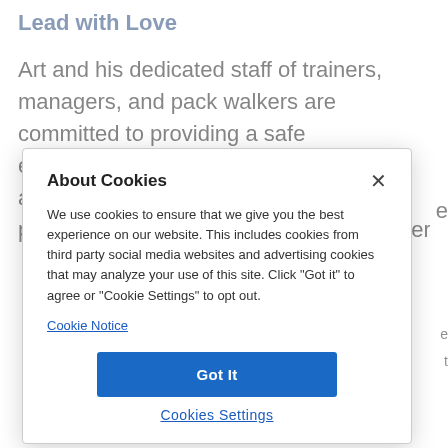Lead with Love
Art and his dedicated staff of trainers, managers, and pack walkers are committed to providing a safe environment that fulfills a dog's mental and physical needs. Each service PackFit offers
About Cookies

We use cookies to ensure that we give you the best experience on our website. This includes cookies from third party social media websites and advertising cookies that may analyze your use of this site. Click "Got it" to agree or "Cookie Settings" to opt out.
Cookie Notice

[Got It]

[Cookies Settings]